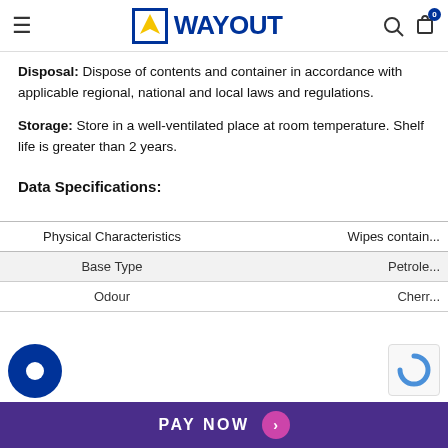WAYOUT
Disposal: Dispose of contents and container in accordance with applicable regional, national and local laws and regulations.
Storage: Store in a well-ventilated place at room temperature. Shelf life is greater than 2 years.
Data Specifications:
| Physical Characteristics | Wipes contain... |
| --- | --- |
| Base Type | Petrole... |
| Odour | Cherr... |